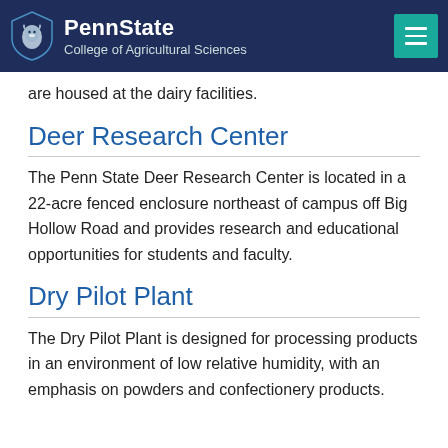PennState College of Agricultural Sciences
are housed at the dairy facilities.
Deer Research Center
The Penn State Deer Research Center is located in a 22-acre fenced enclosure northeast of campus off Big Hollow Road and provides research and educational opportunities for students and faculty.
Dry Pilot Plant
The Dry Pilot Plant is designed for processing products in an environment of low relative humidity, with an emphasis on powders and confectionery products.